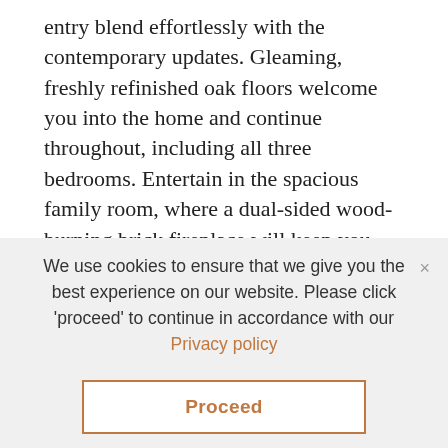entry blend effortlessly with the contemporary updates. Gleaming, freshly refinished oak floors welcome you into the home and continue throughout, including all three bedrooms. Entertain in the spacious family room, where a dual-sided wood-burning brick fireplace will keep you and your guests warm and cozy, even on chilly PNW evenings. Transform the versatile space on the other side of the fireplace into a library, an office, or a more intimate second living space; customize this room to best suit your life – endless possibilities! The charming shiplap backsplash creates a beautiful backdrop to the
We use cookies to ensure that we give you the best experience on our website. Please click 'proceed' to continue in accordance with our Privacy policy
Proceed